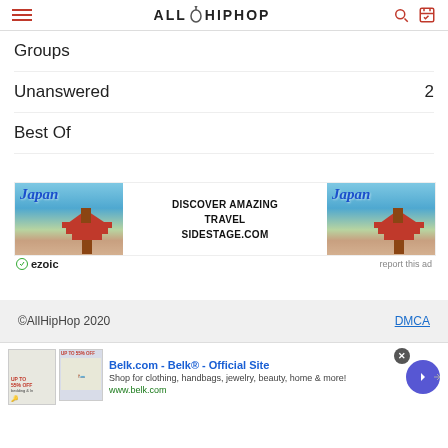AllHipHop
Groups
Unanswered  2
Best Of
[Figure (other): Japan travel advertisement banner: two Japan landscape images flanking text 'DISCOVER AMAZING TRAVEL SIDESTAGE.COM' with ezoic branding and 'report this ad' link]
©AllHipHop 2020  DMCA
[Figure (other): Bottom advertisement for Belk.com - Official Site: 'Shop for clothing, handbags, jewelry, beauty, home & more! www.belk.com']